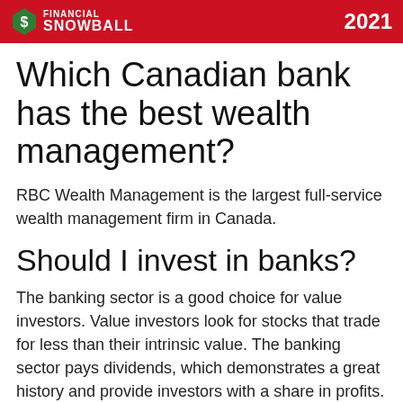FINANCIAL SNOWBALL 2021
Which Canadian bank has the best wealth management?
RBC Wealth Management is the largest full-service wealth management firm in Canada.
Should I invest in banks?
The banking sector is a good choice for value investors. Value investors look for stocks that trade for less than their intrinsic value. The banking sector pays dividends, which demonstrates a great history and provide investors with a share in profits.